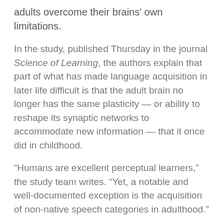adults overcome their brains' own limitations.
In the study, published Thursday in the journal Science of Learning, the authors explain that part of what has made language acquisition in later life difficult is that the adult brain no longer has the same plasticity — or ability to reshape its synaptic networks to accommodate new information — that it once did in childhood.
“Humans are excellent perceptual learners,” the study team writes. “Yet, a notable and well-documented exception is the acquisition of non-native speech categories in adulthood.”
However, recent research has found that stimulation to the nervous system paired with behavioral stimuli can result in improved plasticity and memory recall. To test this for language learning, the team designed a